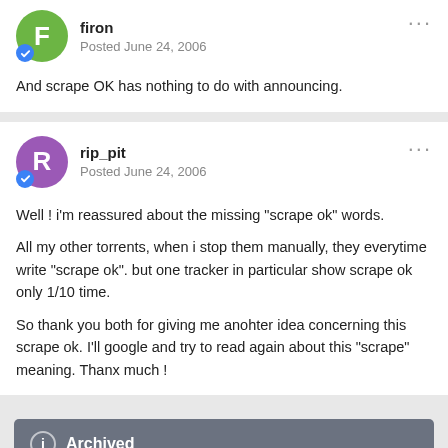[Figure (other): User avatar circle with letter F in green, blue badge overlay, username 'firon', posted date 'Posted June 24, 2006']
And scrape OK has nothing to do with announcing.
[Figure (other): User avatar circle with letter R in purple, blue badge overlay, username 'rip_pit', posted date 'Posted June 24, 2006']
Well ! i'm reassured about the missing "scrape ok" words.

All my other torrents, when i stop them manually, they everytime write "scrape ok". but one tracker in particular show scrape ok only 1/10 time.

So thank you both for giving me anohter idea concerning this scrape ok. I'll google and try to read again about this "scrape" meaning. Thanx much !
Archived